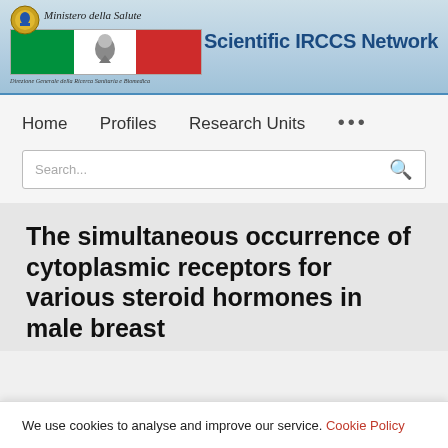Ministero della Salute – Scientific IRCCS Network – Direzione Generale della Ricerca Sanitaria e Biomedica
Home   Profiles   Research Units   •••
Search...
The simultaneous occurrence of cytoplasmic receptors for various steroid hormones in male breast
We use cookies to analyse and improve our service. Cookie Policy